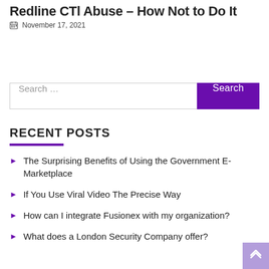Redline CTl Abuse – How Not to Do It
November 17, 2021
Search …
RECENT POSTS
The Surprising Benefits of Using the Government E-Marketplace
If You Use Viral Video The Precise Way
How can I integrate Fusionex with my organization?
What does a London Security Company offer?